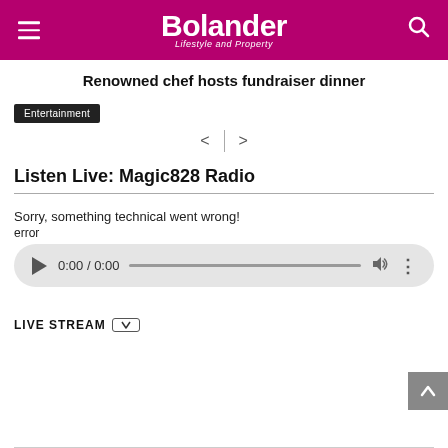Bolander — Lifestyle and Property
Renowned chef hosts fundraiser dinner
Entertainment
[Figure (other): Navigation arrows (left and right) with a vertical divider between them]
Listen Live: Magic828 Radio
Sorry, something technical went wrong!
error
[Figure (screenshot): Audio player UI showing play button, 0:00 / 0:00 timestamp, progress bar, volume icon, and more options icon on a light grey rounded rectangle background]
LIVE STREAM
[Figure (other): Back to top button (grey square with up arrow chevron)]